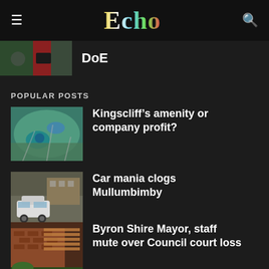Echo
DoE
POPULAR POSTS
[Figure (photo): Aerial view of Kingscliff coastal area]
Kingscliff’s amenity or company profit?
[Figure (photo): Car parked in Mullumbimby street]
Car mania clogs Mullumbimby
[Figure (photo): Byron Shire building exterior with stairs]
Byron Shire Mayor, staff mute over Council court loss